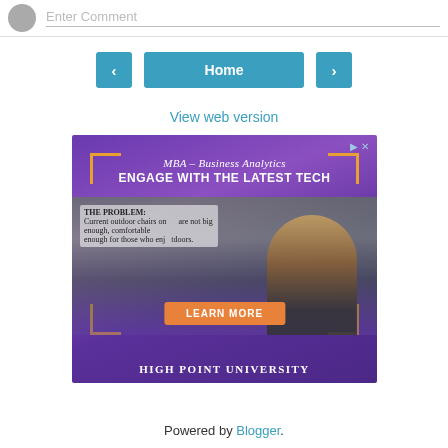Enter Comment
‹
Home
›
View web version
[Figure (photo): Advertisement for High Point University MBA – Business Analytics program. Shows a person speaking, with text 'MBA – Business Analytics', 'ENGAGE WITH THE LATEST TECH', background scene, 'LEARN MORE' button, and 'HIGH POINT UNIVERSITY' text at bottom.]
Powered by Blogger.